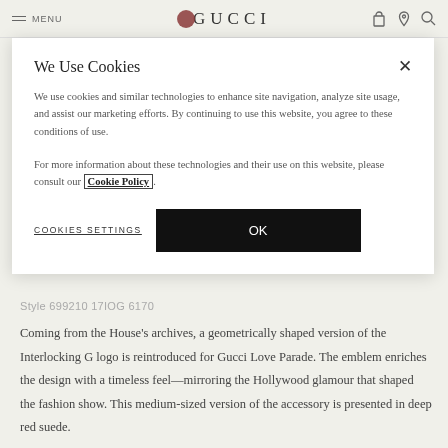MENU  GUCCI
We Use Cookies
We use cookies and similar technologies to enhance site navigation, analyze site usage, and assist our marketing efforts. By continuing to use this website, you agree to these conditions of use.
For more information about these technologies and their use on this website, please consult our Cookie Policy.
COOKIES SETTINGS   OK
Style 699210 17IOG 6170
Coming from the House's archives, a geometrically shaped version of the Interlocking G logo is reintroduced for Gucci Love Parade. The emblem enriches the design with a timeless feel—mirroring the Hollywood glamour that shaped the fashion show. This medium-sized version of the accessory is presented in deep red suede.